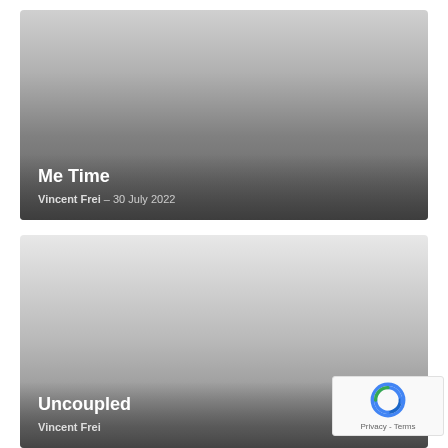[Figure (photo): Movie/show thumbnail card with gradient background (light gray to dark gray), showing title 'Me Time' and author 'Vincent Frei' with date '30 July 2022']
Me Time
Vincent Frei  –  30 July 2022
[Figure (photo): Movie/show thumbnail card with gradient background (white to medium gray), showing title 'Uncoupled' and author 'Vincent Frei' with date]
Uncoupled
Vincent Frei  –  [date]